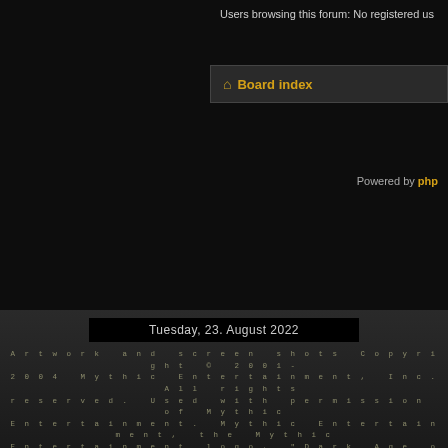Users browsing this forum: No registered us
Board index
Powered by php
Tuesday, 23. August 2022
Artwork and screen shots Copyright © 2001-2004 Mythic Entertainment, Inc. All rights reserved. Used with permission of Mythic Entertainment. Mythic Entertainment, the Mythic Entertainment logo, "Dark Age of Camelot," "Shrouded Isles," "Foundations," "New Frontiers," "Trials of Atlantis," "Catacombs," "Darkness Rising," the Dark Age of Camelot and subsequent logos, and the stylized Celtic knot are trademarks of Mythic Entertainment, Inc. Valid XHTML & CSS | Original Design by: LernVid.com | Modified by Uthgard Staff